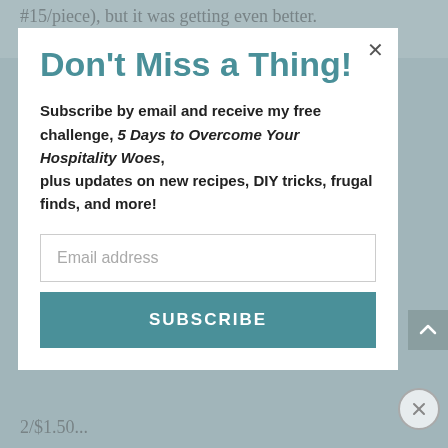#15/piece), but it was getting even better. I glanced over and saw a Catalina machine – right
Don't Miss a Thing!
Subscribe by email and receive my free challenge, 5 Days to Overcome Your Hospitality Woes, plus updates on new recipes, DIY tricks, frugal finds, and more!
Email address
SUBSCRIBE
2/$1.50...